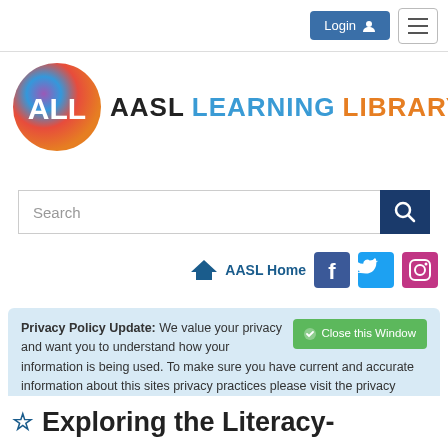Login  ☰
[Figure (logo): AASL Learning Library logo with colorful circular ALL icon and text 'AASL LEARNING LIBRARY']
[Figure (screenshot): Search bar with magnifying glass button]
[Figure (infographic): AASL Home link with house icon, Facebook icon, Twitter icon, Instagram icon]
Privacy Policy Update: We value your privacy and want you to understand how your information is being used. To make sure you have current and accurate information about this sites privacy practices please visit the privacy center by clicking here.
☆ Exploring the Literacy-